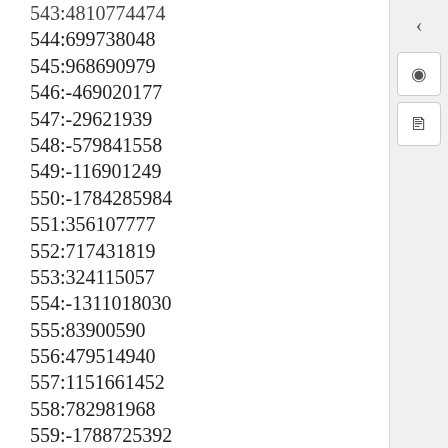543:481077 (partial, cut off at top)
544:699738048
545:968690979
546:-469020177
547:-29621939
548:-579841558
549:-116901249
550:-1784285984
551:356107777
552:717431819
553:324115057
554:-1311018030
555:83900590
556:479514940
557:1151661452
558:782981968
559:-1788725392
560:212283522
561:-1548221511
562:481077 (partial, cut off at bottom)